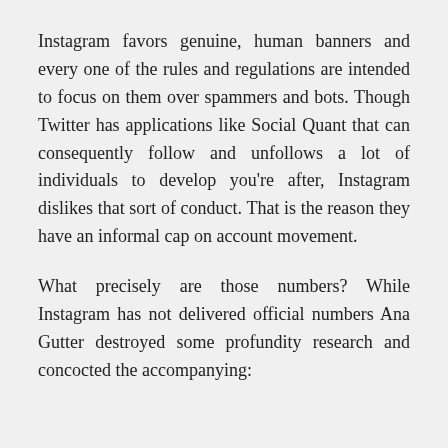Instagram favors genuine, human banners and every one of the rules and regulations are intended to focus on them over spammers and bots. Though Twitter has applications like Social Quant that can consequently follow and unfollows a lot of individuals to develop you're after, Instagram dislikes that sort of conduct. That is the reason they have an informal cap on account movement.
What precisely are those numbers? While Instagram has not delivered official numbers Ana Gutter destroyed some profundity research and concocted the accompanying: